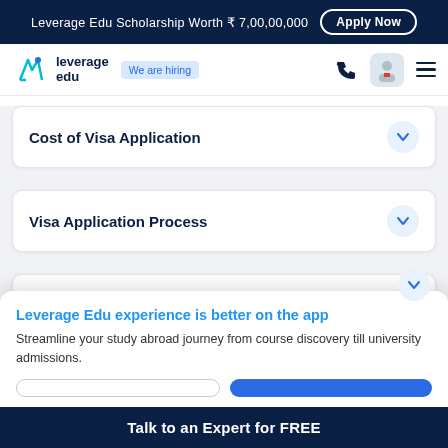Leverage Edu Scholarship Worth ₹ 7,00,00,000  Apply Now
[Figure (logo): Leverage Edu logo with rocket icon and 'We are hiring' badge, navigation icons]
Cost of Visa Application
Visa Application Process
Hot Recruiting Sectors
Leverage Edu experience is better on the app
Streamline your study abroad journey from course discovery till university admissions.
Talk to an Expert for FREE